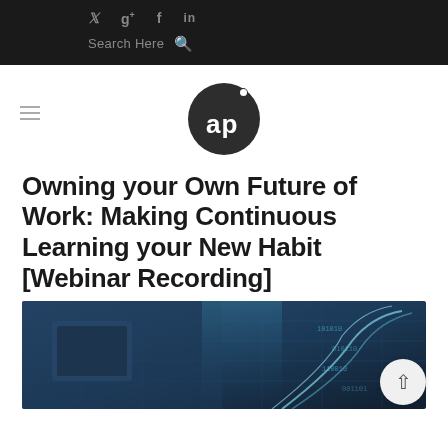Social icons: Twitter, Google+, Facebook, LinkedIn | Search Here
[Figure (logo): AP logo — dark circle with 'ap' text and a dot superscript]
Owning your Own Future of Work: Making Continuous Learning your New Habit [Webinar Recording]
[Figure (photo): Technology background image showing digital data visualization — blue-tinted photo with person using tablet and glowing digital spiral/scroll]